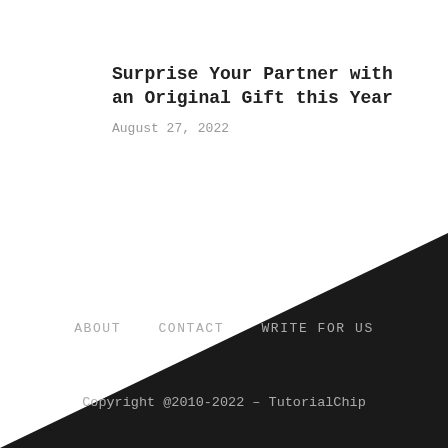Surprise Your Partner with an Original Gift this Year
August 27, 2022
ABOUT   CONTACT   WRITE FOR US
Copyright @2010-2022 – TutorialChip